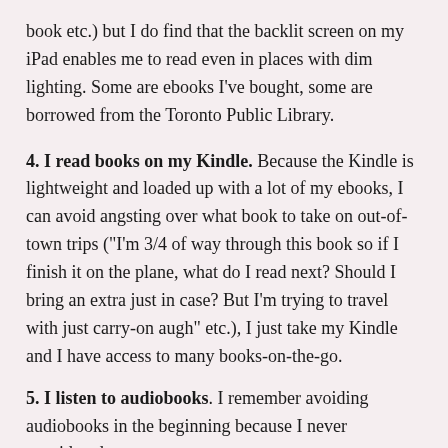book etc.) but I do find that the backlit screen on my iPad enables me to read even in places with dim lighting. Some are ebooks I've bought, some are borrowed from the Toronto Public Library.
4. I read books on my Kindle. Because the Kindle is lightweight and loaded up with a lot of my ebooks, I can avoid angsting over what book to take on out-of-town trips ("I'm 3/4 of way through this book so if I finish it on the plane, what do I read next? Should I bring an extra just in case? But I'm trying to travel with just carry-on augh" etc.), I just take my Kindle and I have access to many books-on-the-go.
5. I listen to audiobooks. I remember avoiding audiobooks in the beginning because I never considered